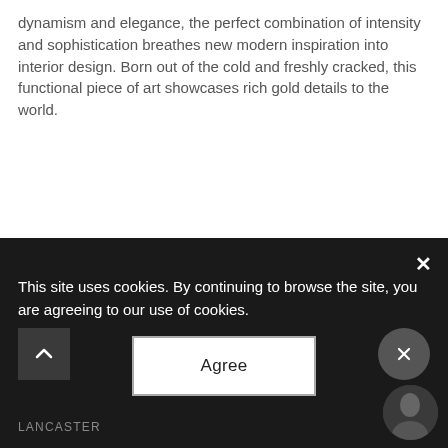dynamism and elegance, the perfect combination of intensity and sophistication breathes new modern inspiration into interior design. Born out of the cold and freshly cracked, this functional piece of art showcases rich gold details to the world.
This site uses cookies. By continuing to browse the site, you are agreeing to our use of cookies.
Agree